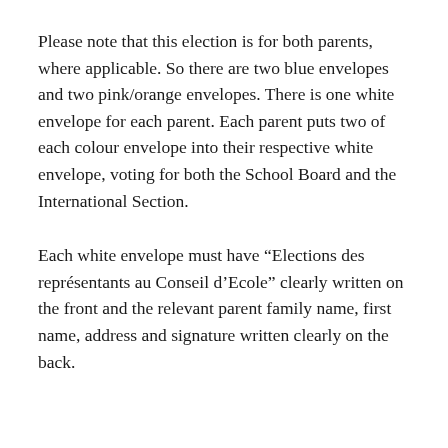Please note that this election is for both parents, where applicable. So there are two blue envelopes and two pink/orange envelopes. There is one white envelope for each parent. Each parent puts two of each colour envelope into their respective white envelope, voting for both the School Board and the International Section.
Each white envelope must have “Elections des représentants au Conseil d’Ecole” clearly written on the front and the relevant parent family name, first name, address and signature written clearly on the back.